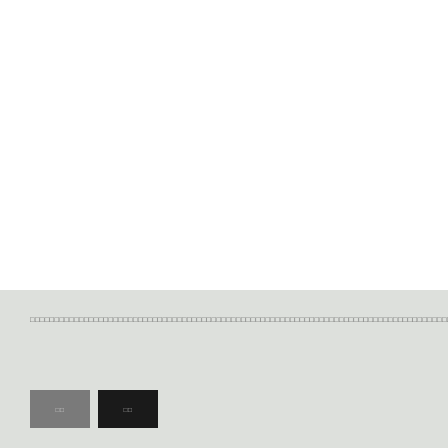□□□□□□□□□□□□□□□□□□□□□□□□□□□□□□□□□□□□□□□□□□□□□□□□□□□□□□□□□□□□□□□□□□□□□□□□□□□□□□□□□□□□□□□□□□□□□□□□□□□□□□□□□□□□□□□□□□□□□□□□□□□□□□□□□□□□□□□□□□□□□□□□□□□□□□□□□□□□□□□□□□□□□□□□□□□□□□□□□□□□□□□□□□□□□□□□□□□□□□□□□□□□□□□□□□□□□□□□□□□□□□□□□□□□□□□□□□□□□□□□□□□□□□□□□□□□□□□□□□□□□□□□□□□□□□□□□□□□
[Figure (other): Two buttons side by side: a gray button with small text and a black button with small text]